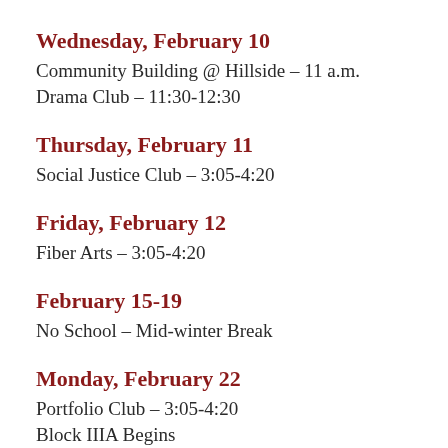Wednesday, February 10
Community Building @ Hillside – 11 a.m.
Drama Club – 11:30-12:30
Thursday, February 11
Social Justice Club – 3:05-4:20
Friday, February 12
Fiber Arts – 3:05-4:20
February 15-19
No School – Mid-winter Break
Monday, February 22
Portfolio Club – 3:05-4:20
Block IIIA Begins
Wednesday, February 24